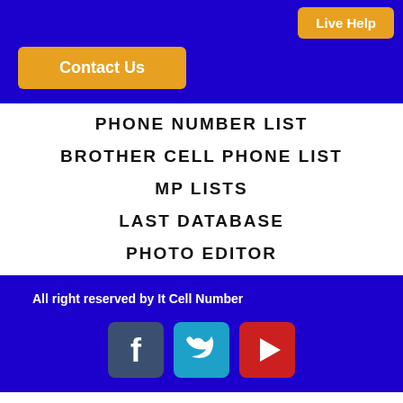Live Help
Contact Us
PHONE NUMBER LIST
BROTHER CELL PHONE LIST
MP LISTS
LAST DATABASE
PHOTO EDITOR
All right reserved by It Cell Number
[Figure (illustration): Social media icons: Facebook (dark blue-grey), Twitter (light blue), YouTube (red)]